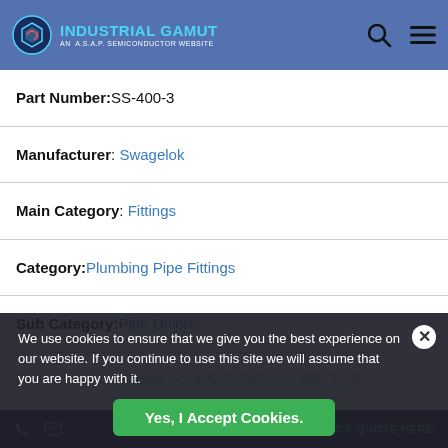Industrial Gamut — An A.S.A.P. Semiconductor Website
Part Number: SS-400-3
Manufacturer: Swagelok
Main Category: Fittings
Category: Plumbing Pipe Fittings
Sub Category: Pipe Unions
Description: Swagelok SS-400-3 SWG SS 400 3 SS
We use cookies to ensure that we give you the best experience on our website. If you continue to use this site we will assume that you are happy with it.
AS9120B, ISO 9001:2015, and FAA 0056B Accredited | QUICK QUOTE HERE